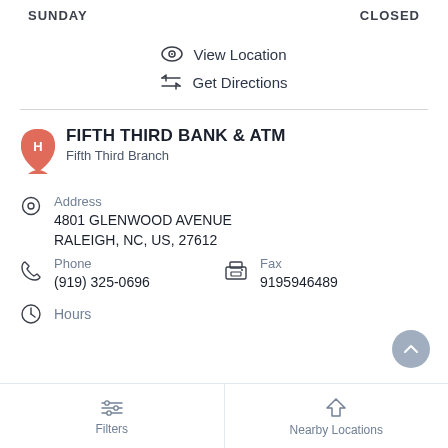SUNDAY   CLOSED
View Location
Get Directions
FIFTH THIRD BANK & ATM
Fifth Third Branch
Address
4801 GLENWOOD AVENUE
RALEIGH, NC, US, 27612
Phone
(919) 325-0696
Fax
9195946489
Hours
Filters
Nearby Locations